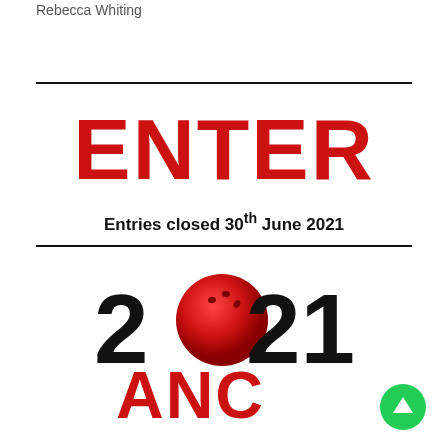Rebecca Whiting
ENTER
Entries closed 30th June 2021
[Figure (logo): 2021 ANC logo with a red bowling ball replacing the zero in 2021, and ANC text in red below]